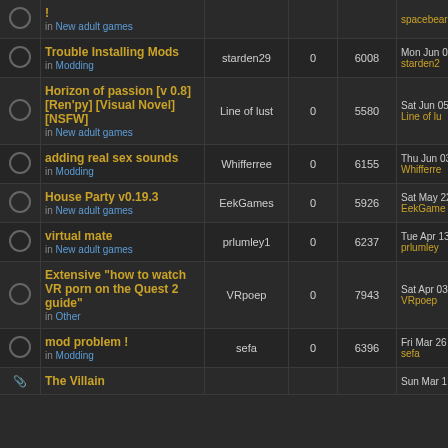|  | Topic | Author | Replies | Views | Last post |
| --- | --- | --- | --- | --- | --- |
|  | ! in New adult games | spacebear | 0 |  |  |
|  | Trouble Installing Mods in Modding | starden29 | 0 | 6008 | Mon Jun 07 12:06 starden2 |
|  | Horizon of passion [v 0.8] [Ren'py] [Visual Novel] [NSFW] in New adult games | Line of lust | 0 | 5580 | Sat Jun 05 7:47 p Line of lu |
|  | adding real sex sounds in Modding | Whifferree | 0 | 6155 | Thu Jun 03 9:46 p Whifferre |
|  | House Party v0.19.3 in New adult games | EekGames | 0 | 5926 | Sat May 22 6:54 a EekGame |
|  | virtual mate in New adult games | prlumley1 | 0 | 6237 | Tue Apr 13 5:22 a prlumley |
|  | Extensive "how to watch VR porn on the Quest 2 guide" in Other | VRpoep | 0 | 7943 | Sat Apr 03 2:04 p VRpoep |
|  | mod problem ! in Modding | sefa | 0 | 6396 | Fri Mar 26 5:54 p sefa |
|  | The Villain |  |  |  | Sun Mar 1 |